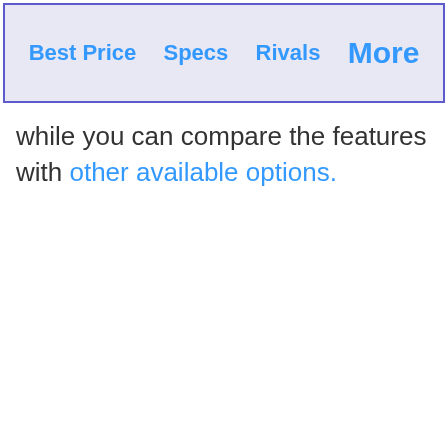Best Price  Specs  Rivals  More
while you can compare the features with other available options.